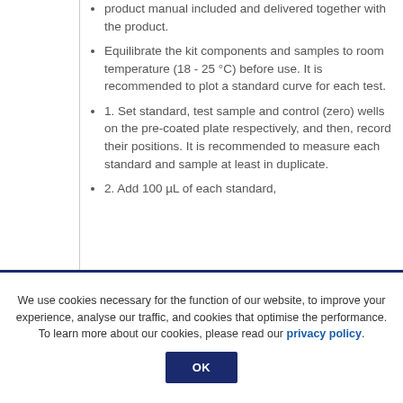product manual included and delivered together with the product.
Equilibrate the kit components and samples to room temperature (18 - 25 °C) before use. It is recommended to plot a standard curve for each test.
1. Set standard, test sample and control (zero) wells on the pre-coated plate respectively, and then, record their positions. It is recommended to measure each standard and sample at least in duplicate.
2. Add 100 µL of each standard,
We use cookies necessary for the function of our website, to improve your experience, analyse our traffic, and cookies that optimise the performance. To learn more about our cookies, please read our privacy policy.